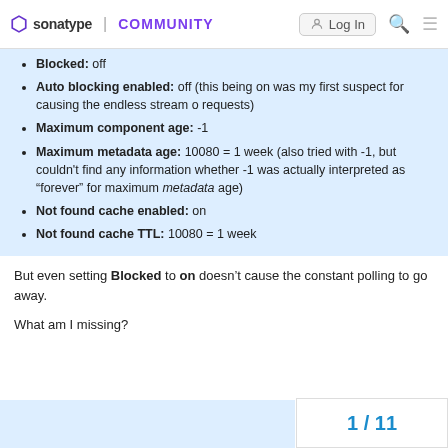sonatype | COMMUNITY  Log In
Blocked: off
Auto blocking enabled: off (this being on was my first suspect for causing the endless stream o requests)
Maximum component age: -1
Maximum metadata age: 10080 = 1 week (also tried with -1, but couldn't find any information whether -1 was actually interpreted as “forever” for maximum metadata age)
Not found cache enabled: on
Not found cache TTL: 10080 = 1 week
But even setting Blocked to on doesn’t cause the constant polling to go away.
What am I missing?
1 / 11